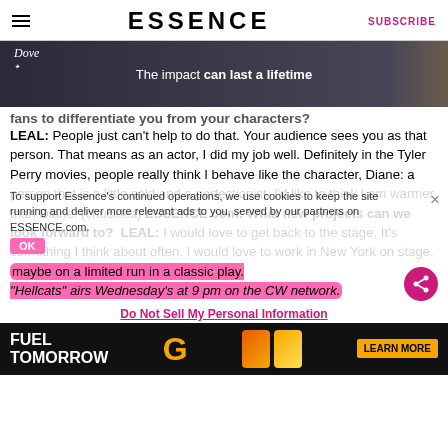ESSENCE  SUBSCRIBE
[Figure (photo): Dove advertisement banner: 'The impact can last a lifetime' with a person in background]
fans to differentiate you from your characters? LEAL: People just can't help to do that. Your audience sees you as that person. That means as an actor, I did my job well. Definitely in the Tyler Perry movies, people really think I behave like the character, Diane: a person that is a little cold and a perfectionist. I'd like to think I am warmer than Diane. (chuckles) ESSENCE.com: What new projects can we look forward to? LEAL: I would love to get back to the stage. It's something I think about often. I would love to work in New York on stage, maybe on a limited run in a classic play. "Hellcats" airs Wednesday's at 9 pm on the CW network.
To support Essence's continued operations, we use cookies to keep the site running and deliver more relevant ads to you, served by our partners on ESSENCE.com.
Do Not Sell My Personal Information
[Figure (photo): Gatorade advertisement: FUEL TOMORROW with G logo and bottles, LEARN MORE button]